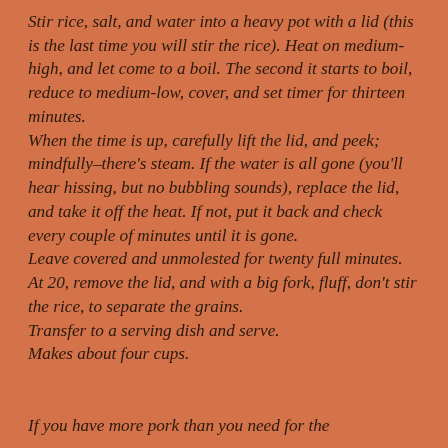Stir rice, salt, and water into a heavy pot with a lid (this is the last time you will stir the rice). Heat on medium-high, and let come to a boil. The second it starts to boil, reduce to medium-low, cover, and set timer for thirteen minutes. When the time is up, carefully lift the lid, and peek; mindfully–there's steam. If the water is all gone (you'll hear hissing, but no bubbling sounds), replace the lid, and take it off the heat. If not, put it back and check every couple of minutes until it is gone. Leave covered and unmolested for twenty full minutes. At 20, remove the lid, and with a big fork, fluff, don't stir the rice, to separate the grains. Transfer to a serving dish and serve. Makes about four cups.
If you have more pork than you need for the